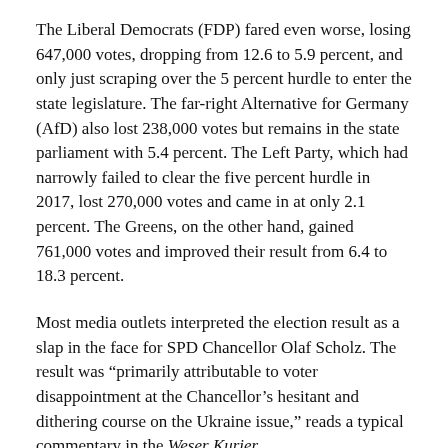The Liberal Democrats (FDP) fared even worse, losing 647,000 votes, dropping from 12.6 to 5.9 percent, and only just scraping over the 5 percent hurdle to enter the state legislature. The far-right Alternative for Germany (AfD) also lost 238,000 votes but remains in the state parliament with 5.4 percent. The Left Party, which had narrowly failed to clear the five percent hurdle in 2017, lost 270,000 votes and came in at only 2.1 percent. The Greens, on the other hand, gained 761,000 votes and improved their result from 6.4 to 18.3 percent.
Most media outlets interpreted the election result as a slap in the face for SPD Chancellor Olaf Scholz. The result was “primarily attributable to voter disappointment at the Chancellor’s hesitant and dithering course on the Ukraine issue,” reads a typical commentary in the Weser Kurier.
The professional opinion makers in the media have